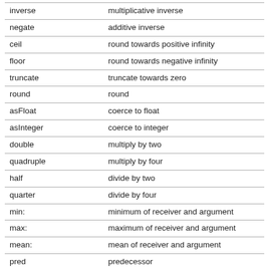|  |  |
| --- | --- |
| inverse | multiplicative inverse |
| negate | additive inverse |
| ceil | round towards positive infinity |
| floor | round towards negative infinity |
| truncate | truncate towards zero |
| round | round |
| asFloat | coerce to float |
| asInteger | coerce to integer |
| double | multiply by two |
| quadruple | multiply by four |
| half | divide by two |
| quarter | divide by four |
| min: | minimum of receiver and argument |
| max: | maximum of receiver and argument |
| mean: | mean of receiver and argument |
| pred | predecessor |
| predecessor | predecessor |
| succ | successor |